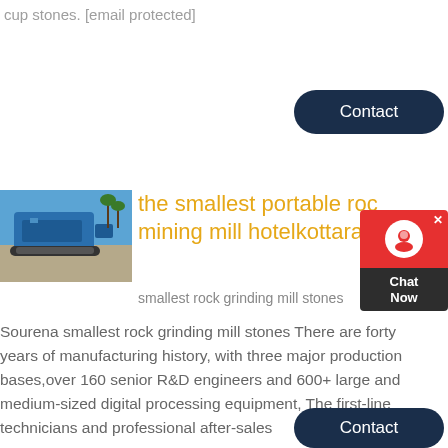cup stones. [email protected]
[Figure (other): Contact button (dark navy rounded rectangle)]
[Figure (photo): Blue portable rock crushing/mining equipment on a gravel site with blue sky background]
the smallest portable rock mining mill hotelkottaram
smallest rock grinding mill stones
Sourena smallest rock grinding mill stones There are forty years of manufacturing history, with three major production bases,over 160 senior R&D engineers and 600+ large and medium-sized digital processing equipment, The first-line technicians and professional after-sales
[Figure (other): Contact button (dark navy rounded rectangle)]
[Figure (other): Chat Now widget with red top section and dark bottom section]